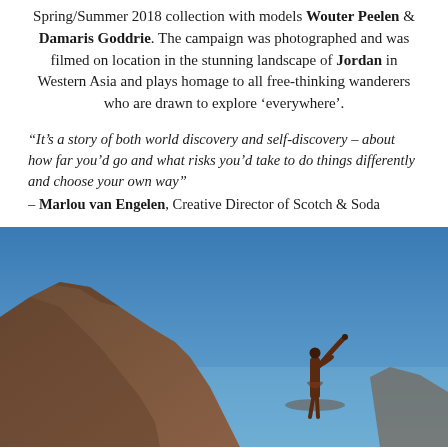Spring/Summer 2018 collection with models Wouter Peelen & Damaris Goddrie. The campaign was photographed and was filmed on location in the stunning landscape of Jordan in Western Asia and plays homage to all free-thinking wanderers who are drawn to explore 'everywhere'.
"It's a story of both world discovery and self-discovery – about how far you'd go and what risks you'd take to do things differently and choose your own way" – Marlou van Engelen, Creative Director of Scotch & Soda
[Figure (photo): A model standing on a rocky outcrop against a bright blue sky, arms raised, with rugged mountains visible in the background. Shot on location in Jordan.]